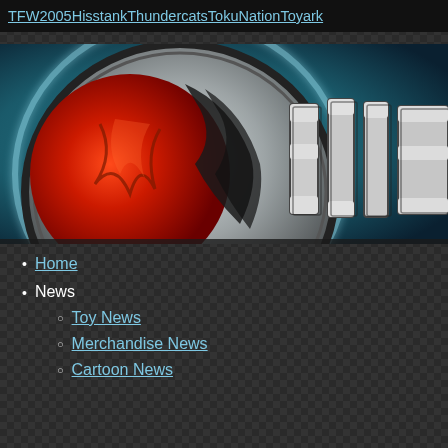TFW2005 Hisstank Thundercats TokuNation Toyark
[Figure (illustration): Partial banner image of a stylized gaming/toy site logo with a red and silver metallic circular emblem on a dark teal background, showing bold metallic lettering partially visible on the right.]
Home
News
Toy News
Merchandise News
Cartoon News